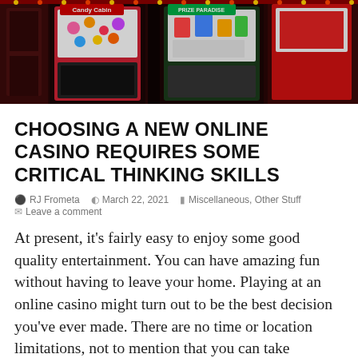[Figure (photo): Casino arcade storefront at night with colorful lit signs and prize machines behind glass, red-lit exterior]
CHOOSING A NEW ONLINE CASINO REQUIRES SOME CRITICAL THINKING SKILLS
RJ Frometa   March 22, 2021   Miscellaneous, Other Stuff   Leave a comment
At present, it's fairly easy to enjoy some good quality entertainment. You can have amazing fun without having to leave your home. Playing at an online casino might turn out to be the best decision you've ever made. There are no time or location limitations, not to mention that you can take advantage of endless options as far as game choice is concerned. If you're a fan of poker and slots, turn your attention to online gambling platforms. Playing casino games over the Internet is a different experience than playing at a